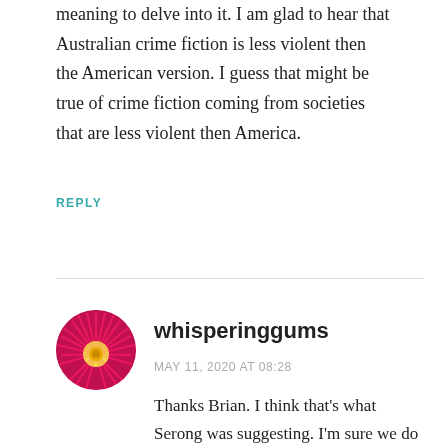meaning to delve into it. I am glad to hear that Australian crime fiction is less violent then the American version. I guess that might be true of crime fiction coming from societies that are less violent then America.
REPLY
[Figure (photo): Circular avatar photo of a pink and yellow flower (appears to be an Australian native flower with spiky pink petals and yellow center)]
whisperinggums
MAY 11, 2020 AT 08:28
Thanks Brian. I think that's what Serong was suggesting. I'm sure we do have our violent crime-writers here but it seems from the conversation that it's not typical.